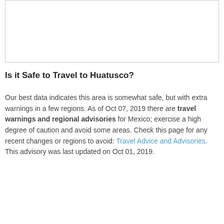[Figure (other): Blank white image box with light gray border, likely a map or photo placeholder for Huatusco travel content.]
Is it Safe to Travel to Huatusco?
Our best data indicates this area is somewhat safe, but with extra warnings in a few regions. As of Oct 07, 2019 there are travel warnings and regional advisories for Mexico; exercise a high degree of caution and avoid some areas. Check this page for any recent changes or regions to avoid: Travel Advice and Advisories. This advisory was last updated on Oct 01, 2019.